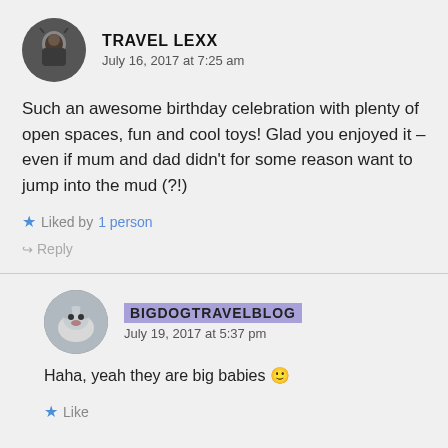[Figure (photo): Circular avatar photo of a man]
TRAVEL LEXX
July 16, 2017 at 7:25 am
Such an awesome birthday celebration with plenty of open spaces, fun and cool toys! Glad you enjoyed it – even if mum and dad didn't for some reason want to jump into the mud (?!)
Liked by 1 person
↳ Reply
[Figure (photo): Circular avatar photo of a dog]
BIGDOGTRAVELBLOG
July 19, 2017 at 5:37 pm
Haha, yeah they are big babies 🙂
Like